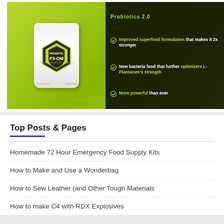[Figure (photo): Probiotic P3-OM supplement bottle promotional image with dark background showing product benefits: Improved superfood formulation that makes it 2x stronger, New bacteria food that further optimizers L-Plantarum's strength, More powerful than ever]
Top Posts & Pages
Homemade 72 Hour Emergency Food Supply Kits
How to Make and Use a Wonderbag
How to Sew Leather (and Other Tough Materials
How to make C4 with RDX Explosives